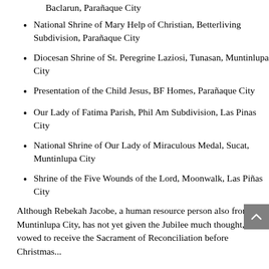Baclarun, Parañaque City
National Shrine of Mary Help of Christian, Betterliving Subdivision, Parañaque City
Diocesan Shrine of St. Peregrine Laziosi, Tunasan, Muntinlupa City
Presentation of the Child Jesus, BF Homes, Parañaque City
Our Lady of Fatima Parish, Phil Am Subdivision, Las Pinas City
National Shrine of Our Lady of Miraculous Medal, Sucat, Muntinlupa City
Shrine of the Five Wounds of the Lord, Moonwalk, Las Piñas City
Although Rebekah Jacobe, a human resource person also from Muntinlupa City, has not yet given the Jubilee much thought, she vowed to receive the Sacrament of Reconciliation before Christmas...